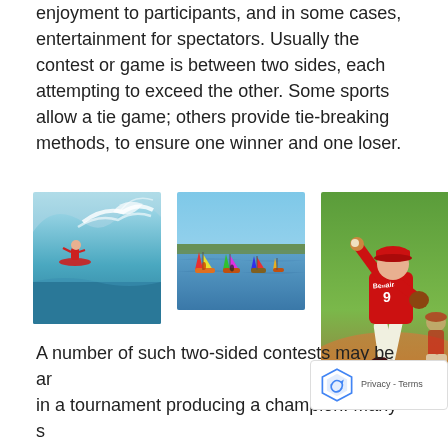enjoyment to participants, and in some cases, entertainment for spectators. Usually the contest or game is between two sides, each attempting to exceed the other. Some sports allow a tie game; others provide tie-breaking methods, to ensure one winner and one loser.
[Figure (photo): A surfer riding a large ocean wave]
[Figure (photo): Colorful sailboats on the water with trees in the background]
[Figure (photo): A baseball pitcher in a red uniform numbered 9 in mid-throw on a baseball field]
A number of such two-sided contests may be arranged in a tournament producing a champion. Many s